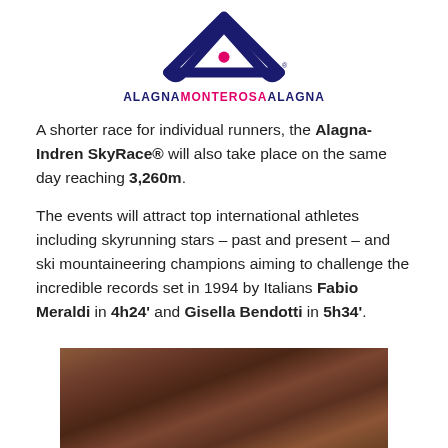[Figure (logo): Alagna Monterosa Alagna logo — mountain/triangle shape in dark navy blue with a pink dot, with text ALAGNA MONTEROSA ALAGNA below]
A shorter race for individual runners, the Alagna-Indren SkyRace® will also take place on the same day reaching 3,260m.
The events will attract top international athletes including skyrunning stars – past and present – and ski mountaineering champions aiming to challenge the incredible records set in 1994 by Italians Fabio Meraldi in 4h24' and Gisella Bendotti in 5h34'.
[Figure (photo): Blurred action photo of a runner on rocky mountain terrain, brown/reddish tones]